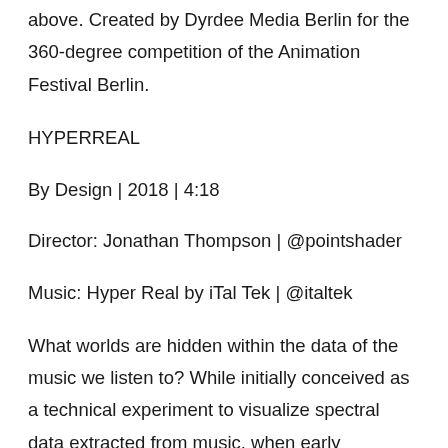above. Created by Dyrdee Media Berlin for the 360-degree competition of the Animation Festival Berlin.
HYPERREAL
By Design | 2018 | 4:18
Director: Jonathan Thompson | @pointshader
Music: Hyper Real by iTal Tek | @italtek
What worlds are hidden within the data of the music we listen to? While initially conceived as a technical experiment to visualize spectral data extracted from music, when early prototypes